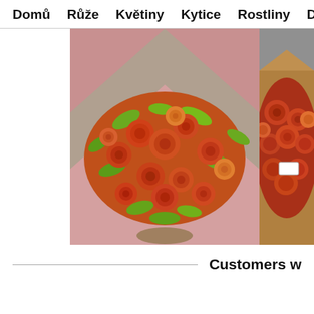Domů  Růže  Květiny  Kytice  Rostliny  Dárky
[Figure (photo): Large bouquet of orange/red roses with bright green leaves, wrapped in paper, viewed from above on a concrete surface]
[Figure (photo): Bouquet of orange roses wrapped in brown kraft paper, partially visible on right side of page]
Customers w